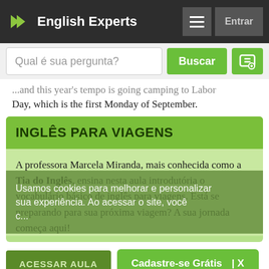English Experts
Qual é sua pergunta?
... and this year's tempo is going camping to Labor Day, which is the first Monday of September.
INGLÊS PARA VIAGENS
A professora Marcela Miranda, mais conhecida como a Tia do Inglês, ensina nesta aula introdutória o vocabulário básico de inglês para viagens. Está se preparando para sua próxima viagem? A sua jornada começa aqui!
Usamos cookies para melhorar e personalizar sua experiência. Ao acessar o site, você c...
ACESSAR AULA
Cadastre-se Grátis | X